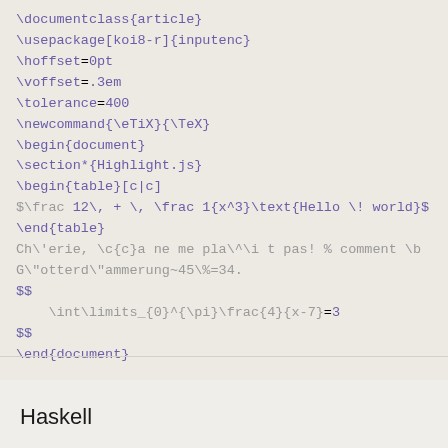\documentclass{article}
\usepackage[koi8-r]{inputenc}
\hoffset=0pt
\voffset=.3em
\tolerance=400
\newcommand{\eTiX}{\TeX}
\begin{document}
\section*{Highlight.js}
\begin{table}[c|c]
$\frac 12\, + \, \frac 1{x^3}\text{Hello \! world}$
\end{table}
Ch\'erie, \c{c}a ne me pla\^\i t pas! % comment \b
G\"otterd\"ammerung~45\%=34.
$$
    \int\limits_{0}^{\pi}\frac{4}{x-7}=3
$$
\end{document}
Haskell